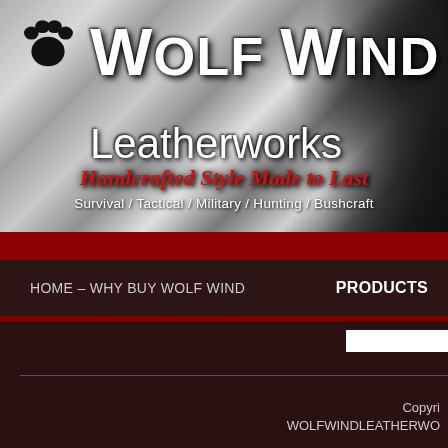[Figure (logo): Wolf Wind Leatherworks logo banner with wolf fur background, paw print, and company name]
Wolf Wind Leatherworks
Handcrafted Style Made to Last
Survival / Tactical / Military / Hunting / Bushcraft
HOME – WHY BUY WOLF WIND    PRODUCTS
Copyri... WOLFWINDLEATHERWO...